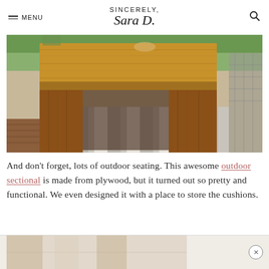SINCERELY, Sara D.
[Figure (photo): Rustic wooden outdoor coffee table on a striped rug on a deck, with wicker chair visible on right and greenery in background]
And don't forget, lots of outdoor seating. This awesome outdoor sectional is made from plywood, but it turned out so pretty and functional. We even designed it with a place to store the cushions.
[Figure (photo): Bottom strip showing partial image of outdoor furniture or plants, with close button]